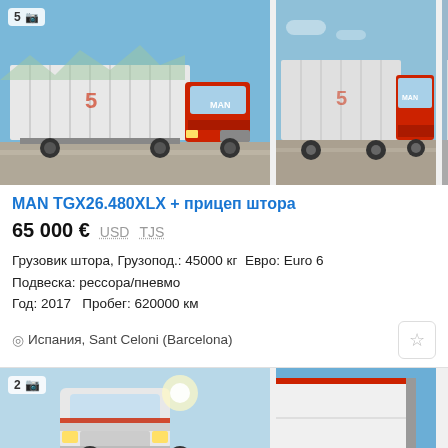[Figure (photo): Two photos of a red MAN TGX truck with curtainside trailer. Left photo shows full truck from front-left angle. Right photo shows same truck from front-right angle. First image has badge showing '5' and camera icon.]
MAN TGX26.480XLX + прицеп штора
65 000 € USD TJS
Грузовик штора, Грузопод.: 45000 кг  Евро: Euro 6
Подвеска: рессора/пневмо
Год: 2017   Пробег: 620000 км
Испания, Sant Celoni (Barcelona)
[Figure (photo): Two photos of another truck listing. Left photo shows cab of a white/grey truck from front angle. Right photo shows rear corner of a white box trailer against blue sky. First image has badge showing '2' and camera icon.]